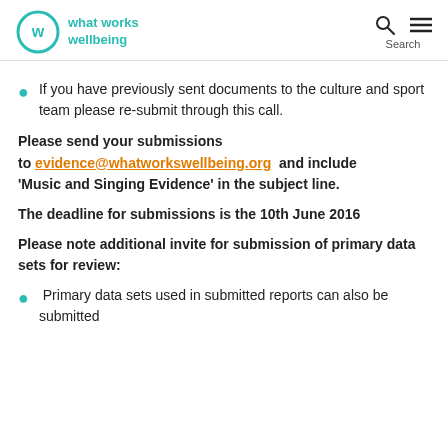what works wellbeing
If you have previously sent documents to the culture and sport team please re-submit through this call.
Please send your submissions to evidence@whatworkswellbeing.org and include 'Music and Singing Evidence' in the subject line.
The deadline for submissions is the 10th June 2016
Please note additional invite for submission of primary data sets for review:
Primary data sets used in submitted reports can also be submitted